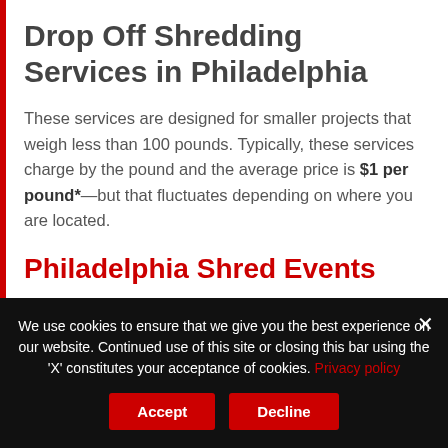Drop Off Shredding Services in Philadelphia
These services are designed for smaller projects that weigh less than 100 pounds. Typically, these services charge by the pound and the average price is $1 per pound*—but that fluctuates depending on where you are located.
Philadelphia Shred Events
Shred events offer...
We use cookies to ensure that we give you the best experience on our website. Continued use of this site or closing this bar using the 'X' constitutes your acceptance of cookies. Privacy policy